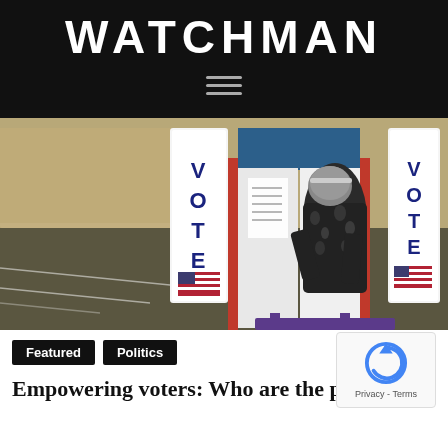WATCHMAN
[Figure (photo): A woman voting at a red, white and blue voting booth in a gymnasium. Two 'VOTE' banners with American flags are visible on either side of the booth.]
Featured
Politics
Empowering voters: Who are the principled